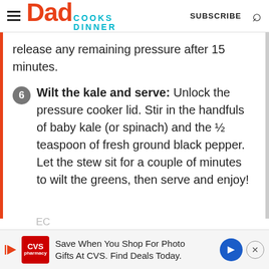Dad Cooks Dinner — SUBSCRIBE
release any remaining pressure after 15 minutes.
6 Wilt the kale and serve: Unlock the pressure cooker lid. Stir in the handfuls of baby kale (or spinach) and the ½ teaspoon of fresh ground black pepper. Let the stew sit for a couple of minutes to wilt the greens, then serve and enjoy!
[Figure (infographic): CVS advertisement banner: Save When You Shop For Photo Gifts At CVS. Find Deals Today.]